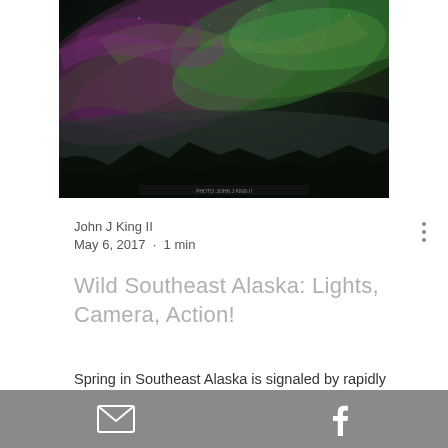[Figure (photo): Aurora borealis / northern lights photo over Southeast Alaska, showing green and purple light streaks across a dark night sky with silhouetted mountains at the bottom.]
John J King II
May 6, 2017 · 1 min
Wild Southeast Alaska: Lights, Camera, Action!
Spring in Southeast Alaska is signaled by rapidly increasing daylight, robust waterfalls from melting snow and seasonal rains as well
Email icon · Facebook icon